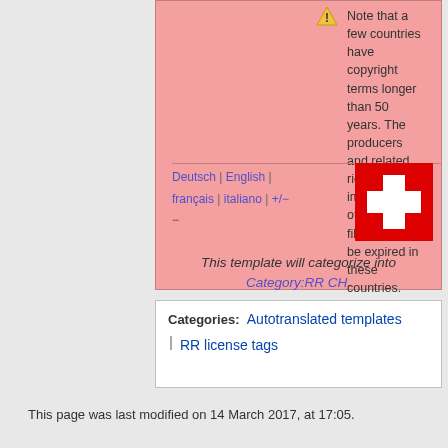Note that a few countries have copyright terms longer than 50 years. The producers and related rights of this image (or other media file) may not be expired in these countries.
Deutsch | English | français | italiano | +/−
[Figure (illustration): Swiss flag — red background with white cross]
This template will categorize into Category:RR CH.
Categories:  Autotranslated templates | RR license tags
This page was last modified on 14 March 2017, at 17:05.